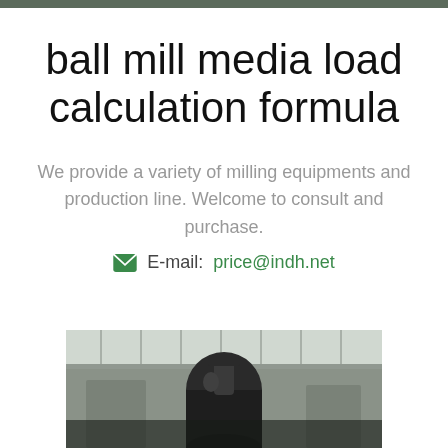ball mill media load calculation formula
We provide a variety of milling equipments and production line. Welcome to consult and purchase.
E-mail: price@indh.net
[Figure (photo): Industrial facility interior showing a ball mill machine with ceiling beams and structural elements visible in the background.]